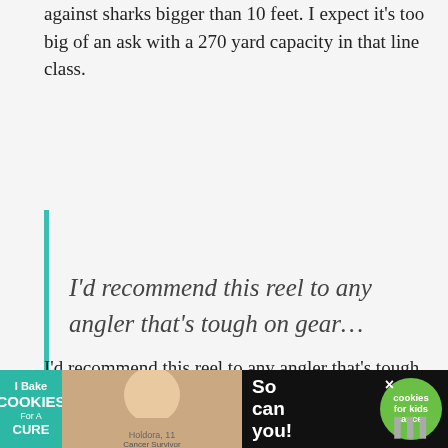against sharks bigger than 10 feet. I expect it's too big of an ask with a 270 yard capacity in that line class.
I'd recommend this reel to any angler that's tough on gear…
I'd recommend this reel to any angler that's tough on gear, stainless. Th... and
[Figure (other): Advertisement banner: I Bake COOKIES For A CURE - Holdora, 11 Cancer Survivor - So can you! - cookies for kids cancer. With close button and dark background.]